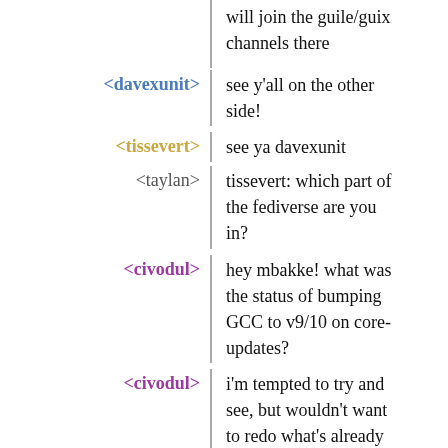(cont) will join the guile/guix channels there
<davexunit> see y'all on the other side!
<tissevert> see ya davexunit
<taylan> tissevert: which part of the fediverse are you in?
<civodul> hey mbakke! what was the status of bumping GCC to v9/10 on core-updates?
<civodul> i'm tempted to try and see, but wouldn't want to redo what's already been done